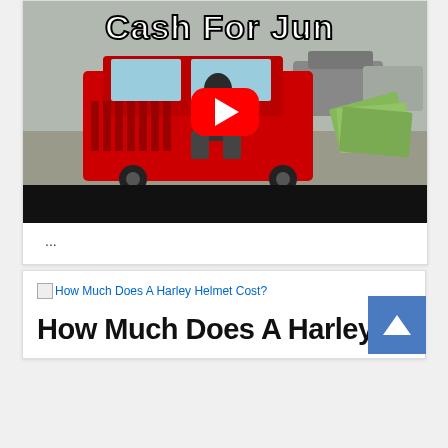[Figure (screenshot): YouTube video thumbnail showing a man sitting on a red Jeep Cherokee with cash in hand, text overlay reads 'Cash For Jun[k]', with a YouTube play button in the center and a black bottom bar]
...
[Figure (photo): Broken image placeholder followed by link text: 'How Much Does A Harley Helmet Cost?']
How Much Does A Harley